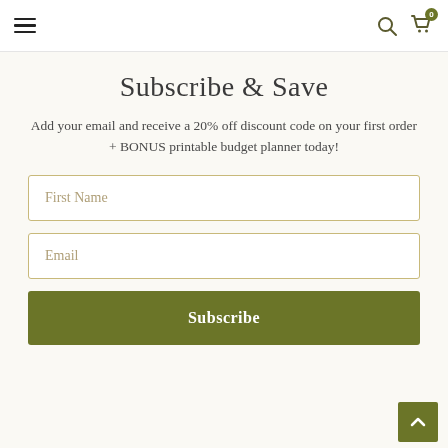Navigation header with hamburger menu, search icon, and cart icon
Subscribe & Save
Add your email and receive a 20% off discount code on your first order + BONUS printable budget planner today!
First Name (input field)
Email (input field)
Subscribe (button)